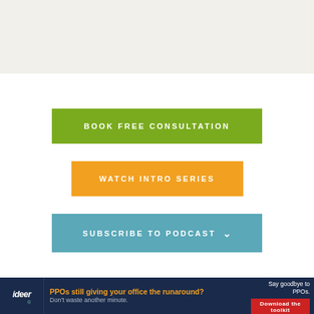[Figure (other): Light beige/tan top banner background area]
BOOK FREE CONSULTATION
WATCH INTRO SERIES
SUBSCRIBE TO PODCAST
[Figure (other): Bottom advertisement banner: ideer logo, PPOs still giving your office the runaround? Don't waste another minute. Say goodbye to PPOs. Download the toolkit.]